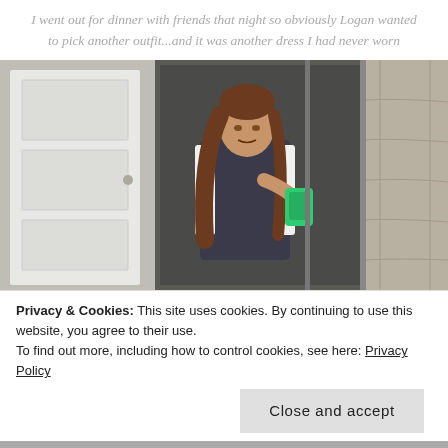I went out for dinner with friends that night so obviously Logan wanted to pick another outfit...and it was another dress I had never worn
[Figure (photo): A young woman taking a mirror selfie with a green smartphone, wearing a dark navy dress with a white cardigan/blazer, with long brown hair. The mirror shows a bathroom or hallway setting with a white door on the left and a stainless refrigerator on the right.]
Privacy & Cookies: This site uses cookies. By continuing to use this website, you agree to their use.
To find out more, including how to control cookies, see here: Privacy Policy
Close and accept